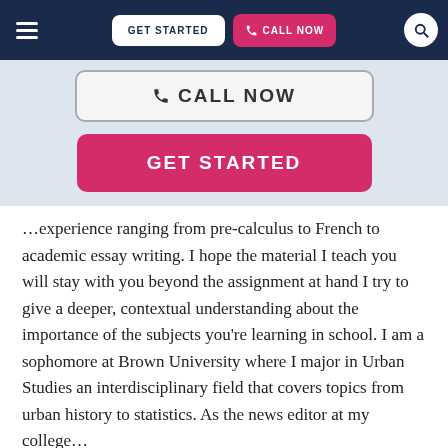GET STARTED | CALL NOW
[Figure (screenshot): Call Now button with phone icon, outlined style]
[Figure (screenshot): Get Started button, pink/magenta background]
…experience ranging from pre-calculus to French to academic essay writing. I hope the material I teach you will stay with you beyond the assignment at hand I try to give a deeper, contextual understanding about the importance of the subjects you're learning in school. I am a sophomore at Brown University where I major in Urban Studies an interdisciplinary field that covers topics from urban history to statistics. As the news editor at my college…